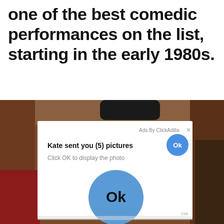one of the best comedic performances on the list, starting in the early 1980s.
[Figure (screenshot): A screenshot of a clickbait/malicious ad popup overlaid on a photo background. The popup reads 'Ads By ClickAdilla X' at the top right, then 'Kate sent you (5) pictures' in bold with an 'Ok' button (blue circle, white text) to the right, then 'Click OK to display the photo' in gray. A large blue circle button labeled 'Ok' is centered in the white popup area. Bottom right shows 'csa' in gray text. The background is a blurry photo with warm tones (brown/red).]